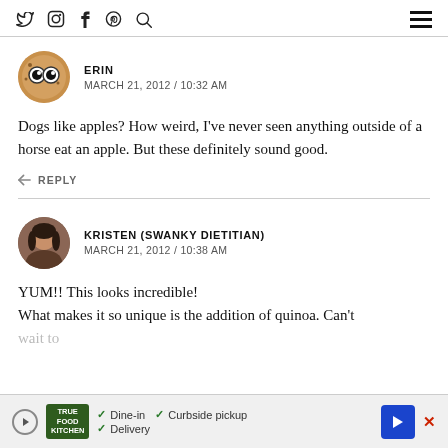Social icons: Twitter, Instagram, Facebook, Pinterest, Search | Hamburger menu
ERIN
MARCH 21, 2012 / 10:32 AM
Dogs like apples? How weird, I've never seen anything outside of a horse eat an apple. But these definitely sound good.
REPLY
KRISTEN (SWANKY DIETITIAN)
MARCH 21, 2012 / 10:38 AM
YUM!! This looks incredible!
What makes it so unique is the addition of quinoa. Can't wait to
True Food Kitchen ad: Dine-in, Curbside pickup, Delivery